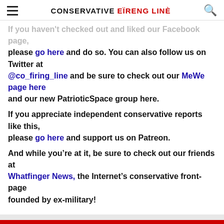CONSERVATIVE FIRING LINE
If you haven't checked out and liked our Facebook page, please go here and do so. You can also follow us on Twitter at @co_firing_line and be sure to check out our MeWe page here and our new PatrioticSpace group here. If you appreciate independent conservative reports like this, please go here and support us on Patreon. And while you're at it, be sure to check out our friends at Whatfinger News, the Internet's conservative front-page founded by ex-military!
Our Privacy Policy has been updated to support the latest regulations. Click to learn more.